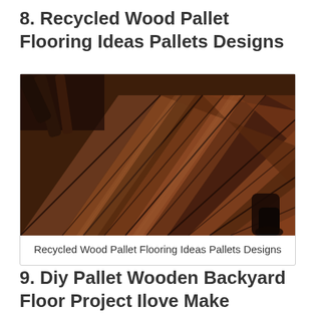8. Recycled Wood Pallet Flooring Ideas Pallets Designs
[Figure (photo): Herringbone pattern recycled wood pallet flooring, dark brown tones, close-up view with chair leg visible in corner]
Recycled Wood Pallet Flooring Ideas Pallets Designs
9. Diy Pallet Wooden Backyard Floor Project Ilove Make